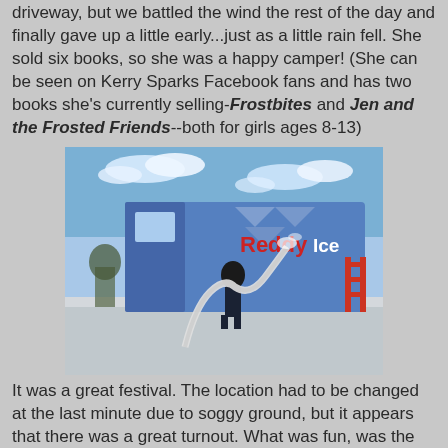driveway, but we battled the wind the rest of the day and finally gave up a little early...just as a little rain fell. She sold six books, so she was a happy camper! (She can be seen on Kerry Sparks Facebook fans and has two books she's currently selling-Frostbites and Jen and the Frosted Friends--both for girls ages 8-13)
[Figure (photo): A person with a large hose spraying snow or ice in front of a Reddy Ice branded blue truck/trailer, outdoors in snowy conditions with a clear blue sky.]
It was a great festival. The location had to be changed at the last minute due to soggy ground, but it appears that there was a great turnout. What was fun, was the organizers had an ice truck come and they made snow! A tubing run for the kids, and a place to have a snowball fight! The kids had a